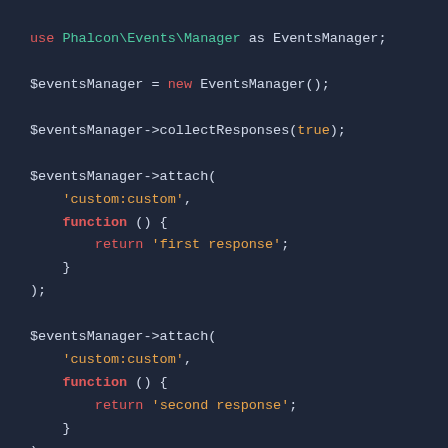[Figure (screenshot): PHP code snippet showing Phalcon EventsManager usage: use statement, collectResponses, two attach calls with anonymous functions returning 'first response' and 'second response', and a fire call.]